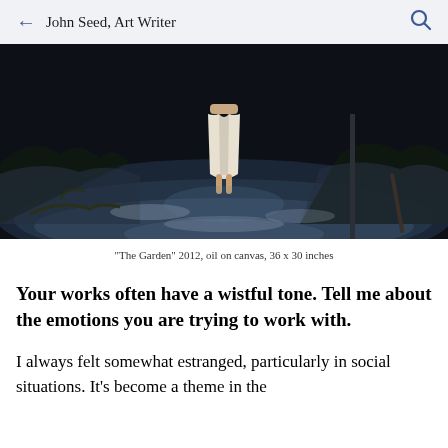John Seed, Art Writer
[Figure (photo): Dark moody painting showing a figure in a white dress standing in a dimly lit outdoor scene with frost-covered ground and dark background]
"The Garden" 2012, oil on canvas, 36 x 30 inches
Your works often have a wistful tone. Tell me about the emotions you are trying to work with.
I always felt somewhat estranged, particularly in social situations. It's become a theme in the